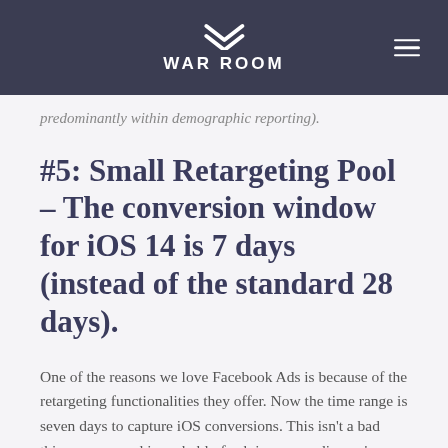WAR ROOM
predominantly within demographic reporting).
#5: Small Retargeting Pool – The conversion window for iOS 14 is 7 days (instead of the standard 28 days).
One of the reasons we love Facebook Ads is because of the retargeting functionalities they offer. Now the time range is seven days to capture iOS conversions. This isn't a bad thing, as your ad is probably fresh in your audiences'